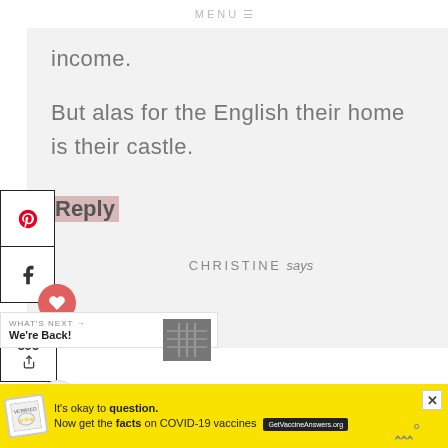MENU ☰
income.
But alas for the English their home is their castle.
Reply
CHRISTINE says
It's okay to question. Now get the facts on COVID-19 vaccines GetVaccineAnswers.org